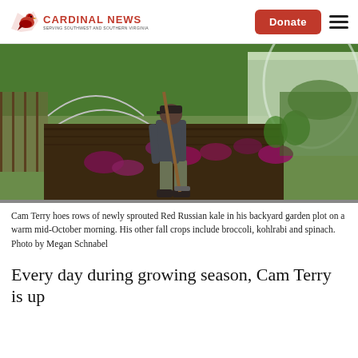CARDINAL NEWS
[Figure (photo): A man hoes rows of newly sprouted Red Russian kale in a backyard garden plot with a hoop house greenhouse visible in the background, on a warm mid-October morning.]
Cam Terry hoes rows of newly sprouted Red Russian kale in his backyard garden plot on a warm mid-October morning. His other fall crops include broccoli, kohlrabi and spinach. Photo by Megan Schnabel
Every day during growing season, Cam Terry is up